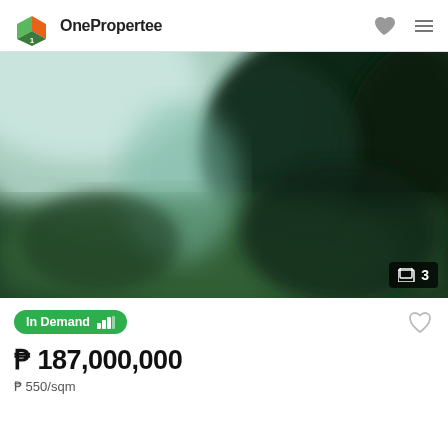[Figure (logo): OnePropertee logo with 3D cube icon in green and orange, followed by text 'OnePropertee']
[Figure (photo): Blurry outdoor photo showing dark green trees/foliage with light sky in the upper left, a property land area; image counter badge showing '3' in bottom right corner]
In Demand
₱ 187,000,000
₱ 550/sqm